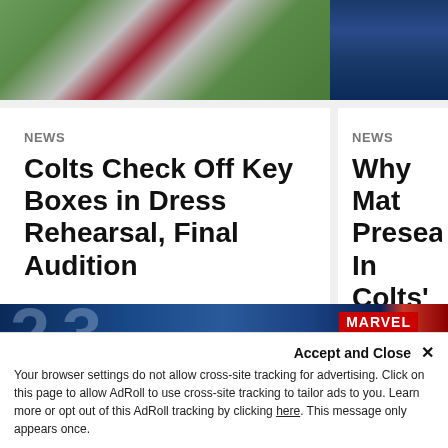[Figure (photo): Football player diving/catching on green field (left), dark blue background (right)]
NEWS
Colts Check Off Key Boxes in Dress Rehearsal, Final Audition
The Indianapolis Colts on Saturday played host to the Tampa Bay Buccaneers in their third and final preseason matchup, giving the team both its 2022 dress rehearsal for the top units and a final audition for those hoping to snag a final roster spot.
NEWS
Why Mat Preseaso In Colts'
Ryan played 1 finale Saturda Buccaneers – his Colts regu against the Ho
[Figure (photo): Sports/Marvel promotional image with dark blue background and red Marvel logo]
Accept and Close ✕
Your browser settings do not allow cross-site tracking for advertising. Click on this page to allow AdRoll to use cross-site tracking to tailor ads to you. Learn more or opt out of this AdRoll tracking by clicking here. This message only appears once.